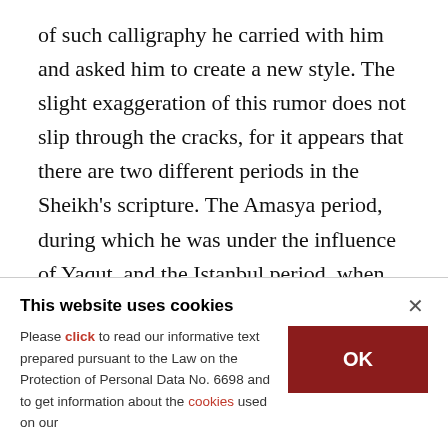of such calligraphy he carried with him and asked him to create a new style. The slight exaggeration of this rumor does not slip through the cracks, for it appears that there are two different periods in the Sheikh's scripture. The Amasya period, during which he was under the influence of Yaqut, and the Istanbul period, when he shone with his own style. So, the issue of "avoidance" seems to be a mise-en-scène Mustakimzade came up with based on the companionship between the Sultan and the
This website uses cookies
Please click to read our informative text prepared pursuant to the Law on the Protection of Personal Data No. 6698 and to get information about the cookies used on our